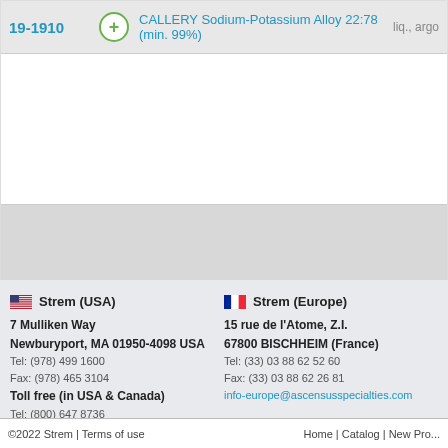| ID |  | Product Name | State |
| --- | --- | --- | --- |
| 19-1910 | + | CALLERY Sodium-Potassium Alloy 22:78 (min. 99%) | liq., argo |
Strem (USA)
7 Mulliken Way
Newburyport, MA 01950-4098 USA
Tel: (978) 499 1600
Fax: (978) 465 3104
Toll free (in USA & Canada)
Tel: (800) 647 8736
Fax: (800) 517 8736
info@ascensusspecialties.com
Strem (Europe)
15 rue de l'Atome, Z.I.
67800 BISCHHEIM (France)
Tel: (33) 03 88 62 52 60
Fax: (33) 03 88 62 26 81
info-europe@ascensusspecialties.com
©2022 Strem | Terms of use    Home | Catalog | New Pro...